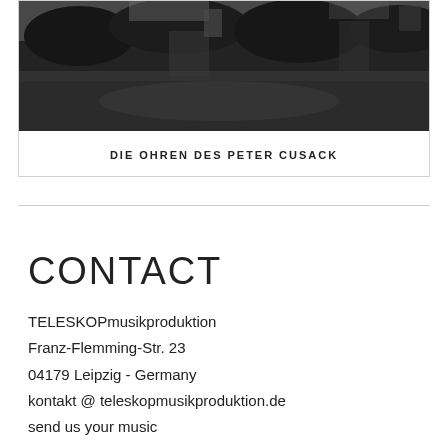[Figure (photo): Black and white photograph of an outdoor scene, appears to show trees or vegetation and possibly a building in the background, dark and moody tone]
DIE OHREN DES PETER CUSACK
CONTACT
TELESKOPmusikproduktion
Franz-Flemming-Str. 23
04179 Leipzig - Germany
kontakt @ teleskopmusikproduktion.de
send us your music